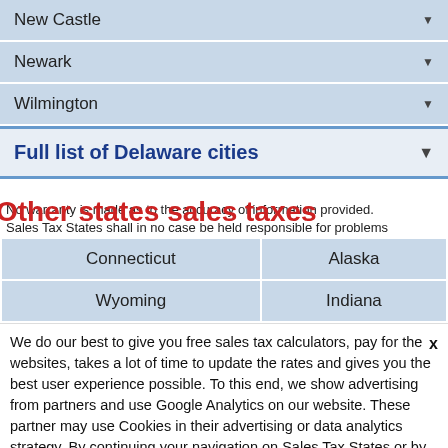New Castle
Newark
Wilmington
Full list of Delaware cities
No warranty is made as to the accuracy of information provided. Sales Tax States shall in no case be held responsible for problems
Other states sales taxes
| Connecticut | Alaska |
| Wyoming | Indiana |
We do our best to give you free sales tax calculators, pay for the websites, takes a lot of time to update the rates and gives you the best user experience possible. To this end, we show advertising from partners and use Google Analytics on our website. These partner may use Cookies in their advertising or data analytics strategy. By continuing your navigation on Sales Tax States or by clicking on the close button you accept the use of cookies.